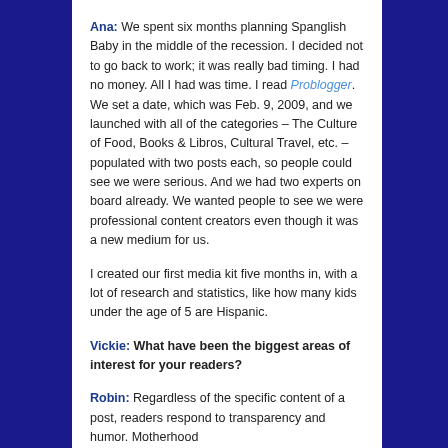Ana: We spent six months planning Spanglish Baby in the middle of the recession. I decided not to go back to work; it was really bad timing. I had no money. All I had was time. I read Problogger. We set a date, which was Feb. 9, 2009, and we launched with all of the categories – The Culture of Food, Books & Libros, Cultural Travel, etc. – populated with two posts each, so people could see we were serious. And we had two experts on board already. We wanted people to see we were professional content creators even though it was a new medium for us.

I created our first media kit five months in, with a lot of research and statistics, like how many kids under the age of 5 are Hispanic.
Vickie: What have been the biggest areas of interest for your readers?
Robin: Regardless of the specific content of a post, readers respond to transparency and humor. Motherhood